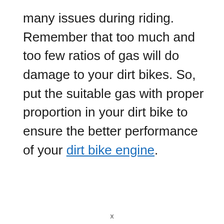many issues during riding. Remember that too much and too few ratios of gas will do damage to your dirt bikes. So, put the suitable gas with proper proportion in your dirt bike to ensure the better performance of your dirt bike engine.
x